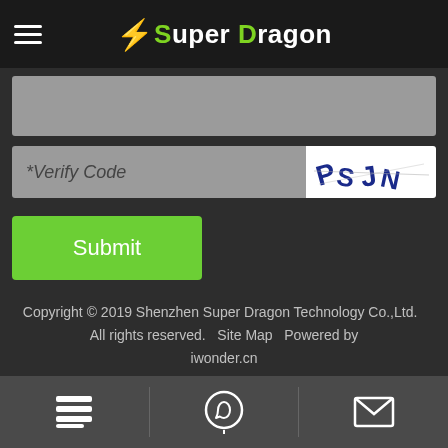Super Dragon
[Figure (screenshot): Gray input field (partially visible, top of form)]
*Verify Code
[Figure (screenshot): CAPTCHA image with distorted text characters]
Submit
Copyright © 2019 Shenzhen Super Dragon Technology Co.,Ltd.  All rights reserved.  Site Map  Powered by iwonder.cn
[Figure (infographic): Bottom navigation bar with three icons: menu/list icon, WhatsApp/phone icon, envelope/email icon]